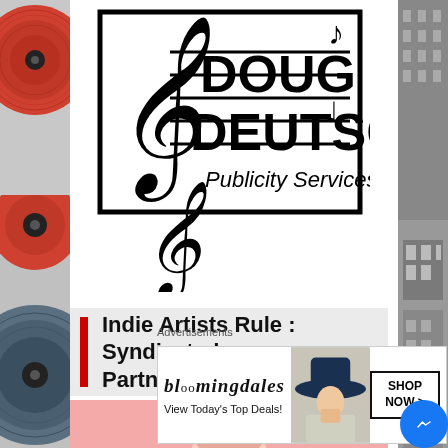[Figure (logo): Doug Deutsch Publicity Services logo with treble clef and music notes on a staff]
Indie Artists Rule : Syndicated Partner
[Figure (photo): Pink background banner with partial view of a woman's face]
Advertisements
[Figure (illustration): Bloomingdales advertisement banner: 'bloomingdales - View Today's Top Deals! SHOP NOW >']